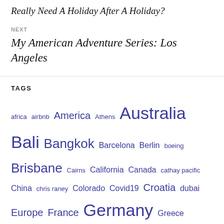Really Need A Holiday After A Holiday?
NEXT
My American Adventure Series: Los Angeles
TAGS
africa airbnb America Athens Australia Bali Bangkok Barcelona Berlin boeing Brisbane Cairns California Canada cathay pacific China chris raney Colorado Covid19 Croatia dubai Europe France Germany Greece holidays hong kong Indonesia In N Out Italy Japan key west london Los Angeles Malaysia melbourne Mexico miami Munich